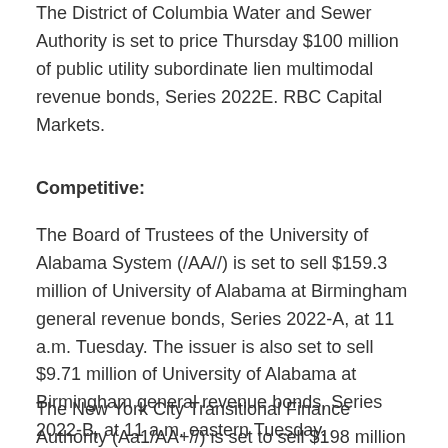The District of Columbia Water and Sewer Authority is set to price Thursday $100 million of public utility subordinate lien multimodal revenue bonds, Series 2022E. RBC Capital Markets.
Competitive:
The Board of Trustees of the University of Alabama System (/AA//) is set to sell $159.3 million of University of Alabama at Birmingham general revenue bonds, Series 2022-A, at 11 a.m. Tuesday. The issuer is also set to sell $9.71 million of University of Alabama at Birmingham general revenue bonds, Series 2022-B, at 11 a.m. eastern Tuesday.
The New York City Transitional Finance Authority (Aa1/AA+//) is set to sell $198 million of taxable future tax exempt bonds, Series 2022...